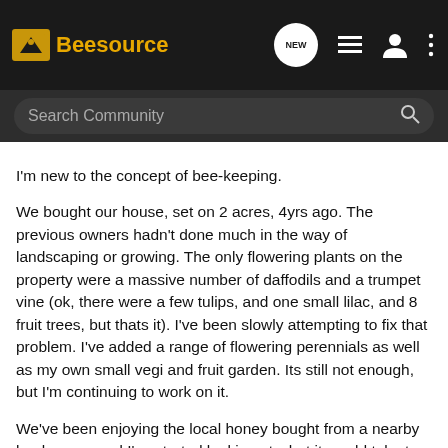Beesource
I'm new to the concept of bee-keeping.
We bought our house, set on 2 acres, 4yrs ago. The previous owners hadn't done much in the way of landscaping or growing. The only flowering plants on the property were a massive number of daffodils and a trumpet vine (ok, there were a few tulips, and one small lilac, and 8 fruit trees, but thats it). I've been slowly attempting to fix that problem. I've added a range of flowering perennials as well as my own small vegi and fruit garden. Its still not enough, but I'm continuing to work on it.
We've been enjoying the local honey bought from a nearby beekeeper, and I've started looking at what it would take to keep bees myself. Both for the honey and to ensure enough pollinators for the garden. Hence my joining here!